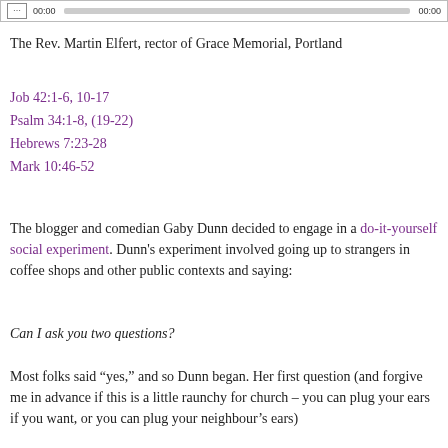[Figure (other): Audio media player bar with icon, progress bar, and time display]
The Rev. Martin Elfert, rector of Grace Memorial, Portland
Job 42:1-6, 10-17
Psalm 34:1-8, (19-22)
Hebrews 7:23-28
Mark 10:46-52
The blogger and comedian Gaby Dunn decided to engage in a do-it-yourself social experiment. Dunn’s experiment involved going up to strangers in coffee shops and other public contexts and saying:
Can I ask you two questions?
Most folks said “yes,” and so Dunn began. Her first question (and forgive me in advance if this is a little raunchy for church – you can plug your ears if you want, or you can plug your neighbour’s ears)